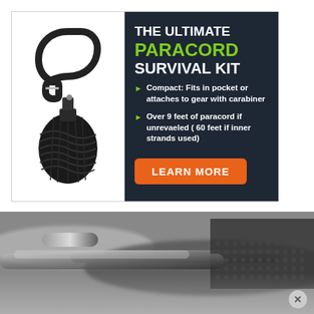[Figure (infographic): Advertisement for The Ultimate Paracord Survival Kit. Left side shows photo of black paracord ball with carabiner. Right side has dark background with text: THE ULTIMATE PARACORD SURVIVAL KIT, bullet points about compact size and paracord length, and orange LEARN MORE button.]
[Figure (photo): Close-up grayscale/blurred photo of paracord or survival gear tools, cylindrical metallic and textured objects.]